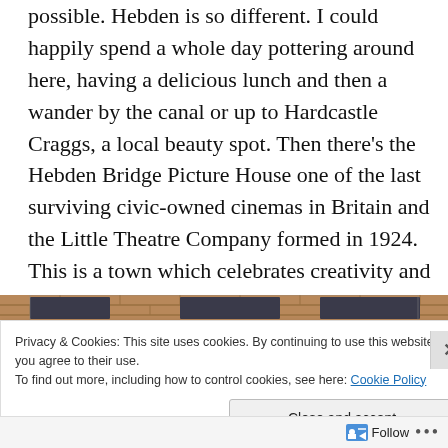possible. Hebden is so different. I could happily spend a whole day pottering around here, having a delicious lunch and then a wander by the canal or up to Hardcastle Craggs, a local beauty spot. Then there's the Hebden Bridge Picture House one of the last surviving civic-owned cinemas in Britain and the Little Theatre Company formed in 1924. This is a town which celebrates creativity and community.
[Figure (photo): Photograph of a building exterior showing brick facade at top, dark grey awning/beam structure in middle, and light grey lower section — appears to be the front of a cinema or theatre building.]
Privacy & Cookies: This site uses cookies. By continuing to use this website, you agree to their use. To find out more, including how to control cookies, see here: Cookie Policy
Close and accept
Follow